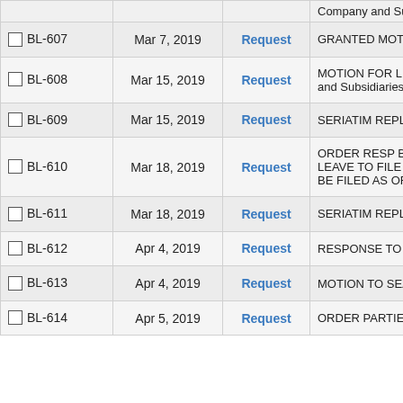|  | Date | Type | Description |
| --- | --- | --- | --- |
|  | Company and Su |
| BL-607 | Mar 7, 2019 | Request | GRANTED MOTIO |
| BL-608 | Mar 15, 2019 | Request | MOTION FOR LEA and Subsidiaries |
| BL-609 | Mar 15, 2019 | Request | SERIATIM REPLY B |
| BL-610 | Mar 18, 2019 | Request | ORDER RESP BY 4 LEAVE TO FILE SE BE FILED AS OF TH |
| BL-611 | Mar 18, 2019 | Request | SERIATIM REPLY B |
| BL-612 | Apr 4, 2019 | Request | RESPONSE TO SE |
| BL-613 | Apr 4, 2019 | Request | MOTION TO SEAL |
| BL-614 | Apr 5, 2019 | Request | ORDER PARTIES B |